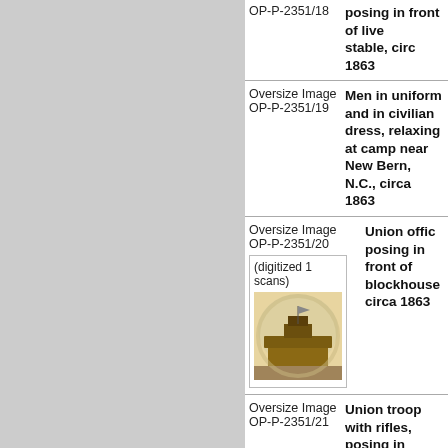| Type/ID | Description |
| --- | --- |
| Oversize Image OP-P-2351/18 | posing in front of livery stable, circa 1863 |
| Oversize Image OP-P-2351/19 | Men in uniform and in civilian dress, relaxing at camp near New Bern, N.C., circa 1863 |
| Oversize Image OP-P-2351/20 | Union officer posing in front of blockhouse, circa 1863 |
| Oversize Image OP-P-2351/21 | Union troops with rifles, posing in |
[Figure (photo): Thumbnail photograph of a blockhouse structure, sepia/brown toned, circular vignette style. Part of entry for OP-P-2351/20.]